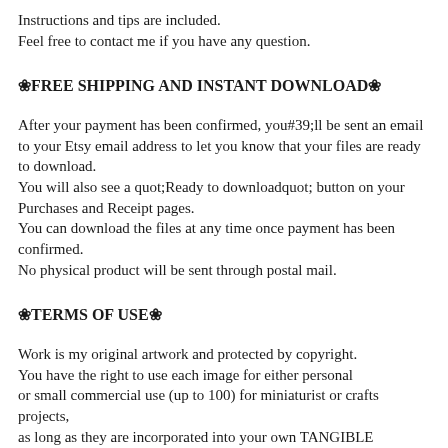Instructions and tips are included.
Feel free to contact me if you have any question.
❀FREE SHIPPING AND INSTANT DOWNLOAD❀
After your payment has been confirmed, you#39;ll be sent an email
to your Etsy email address to let you know that your files are ready to download.
You will also see a quot;Ready to downloadquot; button on your Purchases and Receipt pages.
You can download the files at any time once payment has been confirmed.
No physical product will be sent through postal mail.
❀TERMS OF USE❀
Work is my original artwork and protected by copyright.
You have the right to use each image for either personal
or small commercial use (up to 100) for miniaturist or crafts projects,
as long as they are incorporated into your own TANGIBLE creation.